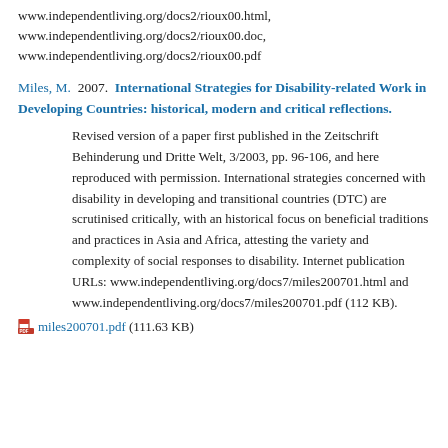www.independentliving.org/docs2/rioux00.html,
www.independentliving.org/docs2/rioux00.doc,
www.independentliving.org/docs2/rioux00.pdf
Miles, M.  2007.  International Strategies for Disability-related Work in Developing Countries: historical, modern and critical reflections.
Revised version of a paper first published in the Zeitschrift Behinderung und Dritte Welt, 3/2003, pp. 96-106, and here reproduced with permission. International strategies concerned with disability in developing and transitional countries (DTC) are scrutinised critically, with an historical focus on beneficial traditions and practices in Asia and Africa, attesting the variety and complexity of social responses to disability. Internet publication URLs: www.independentliving.org/docs7/miles200701.html and www.independentliving.org/docs7/miles200701.pdf (112 KB).
miles200701.pdf (111.63 KB)